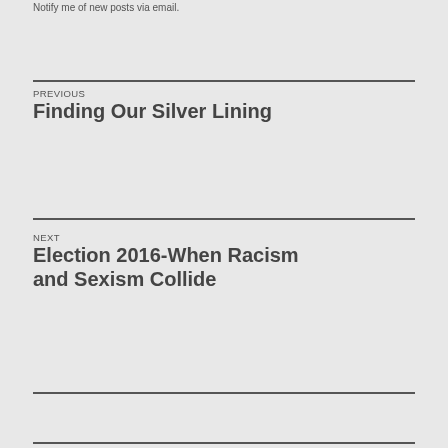Notify me of new posts via email.
PREVIOUS
Finding Our Silver Lining
NEXT
Election 2016-When Racism and Sexism Collide